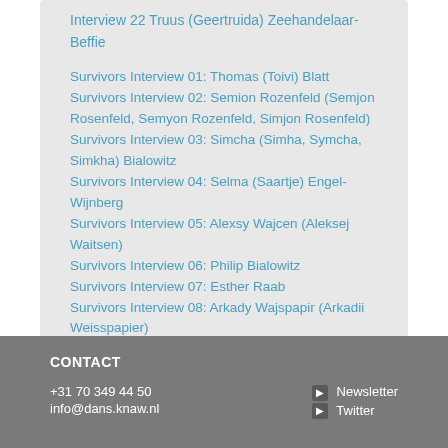Interview 22 Truus (Geertruida) Zeehandelaar-Beffie
Survivors Interview 01: Thomas (Toivi) Blatt
Survivors Interview 02: Semion Rozenfeld (Semjon Rosenfeld, Semyon Rozenfeld, Simjon Rosenfeld)
Survivors Interview 03: Simcha (Simha, Symcha, Simkha) Bialowitz
Survivors Interview 04: Selma (Saartje) Engel-Wijnberg
Survivors Interview 05: Alexsy Wajcen (Aleksej Waitsen)
Survivors Interview 06: Philip Bialowitz
Survivors Interview 07: Esther Raab
Survivors Interview 08: Arkady Wajspapir (Arkadii Weisspapier)
Survivors Interview 09: Regina Zielinski-Feldman
CONTACT
+31 70 349 44 50
info@dans.knaw.nl
Newsletter
Twitter